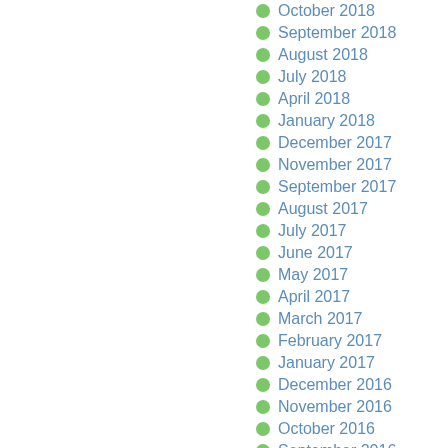October 2018
September 2018
August 2018
July 2018
April 2018
January 2018
December 2017
November 2017
September 2017
August 2017
July 2017
June 2017
May 2017
April 2017
March 2017
February 2017
January 2017
December 2016
November 2016
October 2016
September 2016